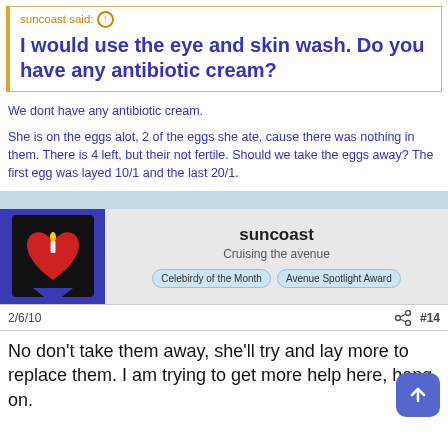suncoast said: ↑
I would use the eye and skin wash. Do you have any antibiotic cream?
We dont have any antibiotic cream.
She is on the eggs alot, 2 of the eggs she ate, cause there was nothing in them. There is 4 left, but their not fertile. Should we take the eggs away? The first egg was layed 10/1 and the last 20/1.
suncoast
Cruising the avenue
2/6/10
#14
No don't take them away, she'll try and lay more to replace them. I am trying to get more help here, hang on.